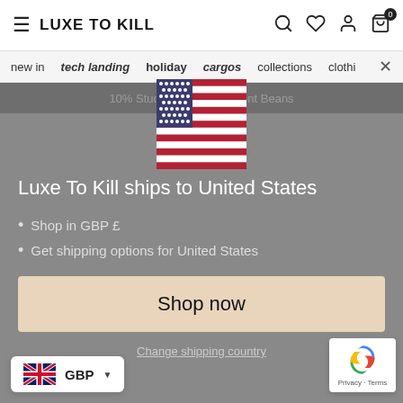LUXE TO KILL
new in  tech landing  holiday  cargos  collections  clothi
10% Student ... student Beans
[Figure (illustration): US flag emoji overlaid on navigation bar and promo bar area]
Luxe To Kill ships to United States
Shop in GBP £
Get shipping options for United States
Shop now
Change shipping country
[Figure (illustration): UK flag with GBP currency selector widget in bottom left corner]
[Figure (screenshot): reCAPTCHA badge bottom right showing Privacy · Terms]